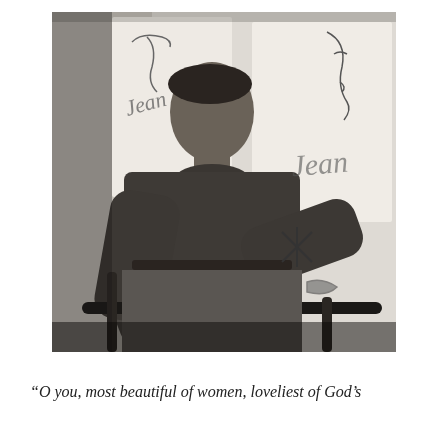[Figure (photo): Black and white photograph of a young man in a turtleneck sweater, seated, leaning forward on a chair or railing, looking to the right. Behind him are large white panels with line drawings of faces and the cursive text 'Jean'. The style suggests a mid-20th century artist's studio setting.]
“O you, most beautiful of women, loveliest of God’s